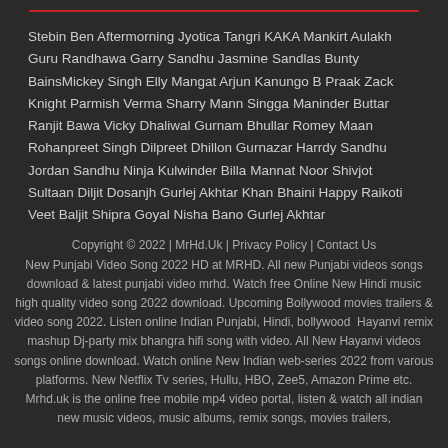Stebin Ben Aftermorning Jyotica Tangri KAKA Mankirt Aulakh Guru Randhawa Garry Sandhu Jasmine Sandlas Bunty BainsMickey Singh Elly Mangat Arjun Kanungo B Praak Zack Knight Parmish Verma Sharry Mann Singga Maninder Buttar Ranjit Bawa Vicky Dhaliwal Gurnam Bhullar Romey Maan Rohanpreet Singh Dilpreet Dhillon Gurnazar Harrdy Sandhu Jordan Sandhu Ninja Kulwinder Billa Mannat Noor Shivjot Sultaan Diljit Dosanjh Gurlej Akhtar Khan Bhaini Happy Raikoti Veet Baljit Shipra Goyal Nisha Bano Gurlej Akhtar
Copyright © 2022 | MrHd.Uk | Privacy Policy | Contact Us New Punjabi Video Song 2022 HD at MRHD. All new Punjabi videos songs download & latest punjabi video mrhd. Watch free Online New Hindi music high quality video song 2022 download. Upcoming Bollywood movies trailers & video song 2022. Listen online Indian Punjabi, Hindi, bollywood Hayanvi remix mashup Dj-party mix bhangra hifi song with video. All New Hayanvi videos songs online download. Watch online New Indian web-series 2022 from varous platforms. New Netflix Tv series, Hullu, HBO, Zee5, Amazon Prime etc. Mrhd.uk is the online free mobile mp4 video portal, listen & watch all indian new music videos, music albums, remix songs, movies trailers,